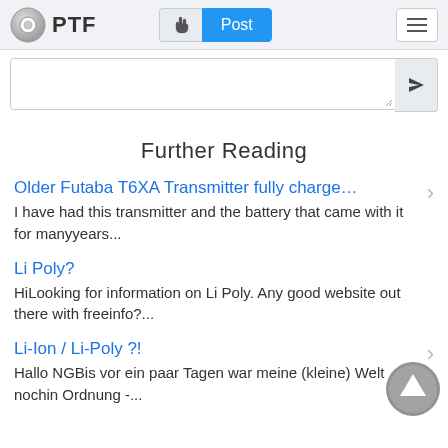PTF
Further Reading
Older Futaba T6XA Transmitter fully charge…
I have had this transmitter and the battery that came with it for manyyears...
Li Poly?
HiLooking for information on Li Poly. Any good website out there with freeinfo?...
Li-Ion / Li-Poly ?!
Hallo NGBis vor ein paar Tagen war meine (kleine) Welt nochin Ordnung -...